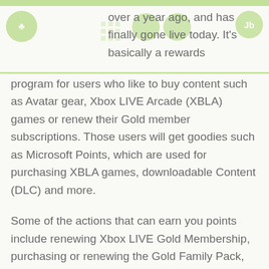over a year ago, and has finally gone live today. It's basically a rewards
program for users who like to buy content such as Avatar gear, Xbox LIVE Arcade (XBLA) games or renew their Gold member subscriptions. Those users will get goodies such as Microsoft Points, which are used for purchasing XBLA games, downloadable Content (DLC) and more.
Some of the actions that can earn you points include renewing Xbox LIVE Gold Membership, purchasing or renewing the Gold Family Pack, making your first Xbox LIVE Marketplace purchase, buying select LIVE Marketplace content, activating and using Netflix, taking